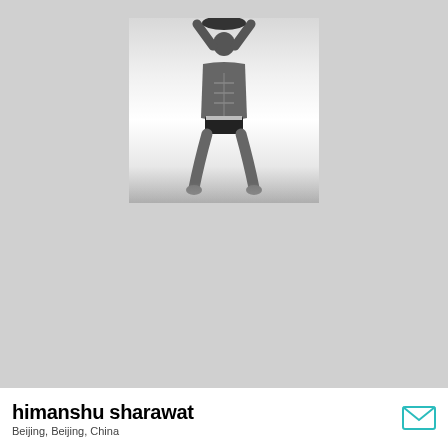[Figure (photo): Black and white photograph of a muscular shirtless man holding something above his head with both arms raised, wearing dark shorts, shot from below against a bright background]
himanshu sharawat
Beijing, Beijing, China